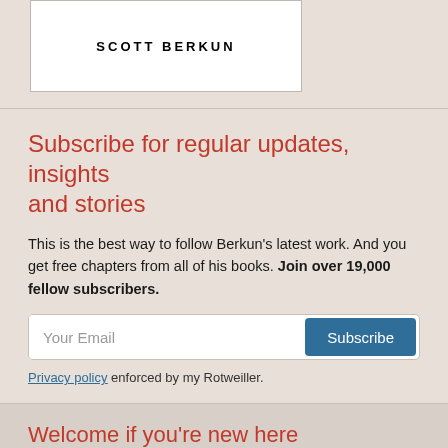[Figure (illustration): Book cover or title box showing 'SCOTT BERKUN' in bold spaced uppercase letters on white background with border]
Subscribe for regular updates, insights and stories
This is the best way to follow Berkun's latest work. And you get free chapters from all of his books. Join over 19,000 fellow subscribers.
Your Email [input field] Subscribe [button]
Privacy policy enforced by my Rotweiller.
Welcome if you're new here
Welcome to the best blog you've ever seen at this URL: here are 7